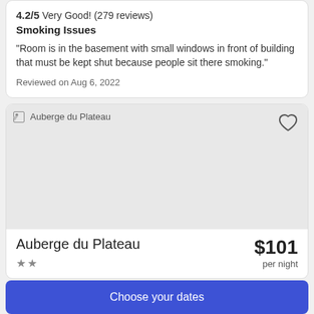4.2/5 Very Good! (279 reviews)
Smoking Issues
"Room is in the basement with small windows in front of building that must be kept shut because people sit there smoking."
Reviewed on Aug 6, 2022
[Figure (photo): Broken image placeholder for Auberge du Plateau hotel]
Auberge du Plateau
★★
$101 per night
Choose your dates